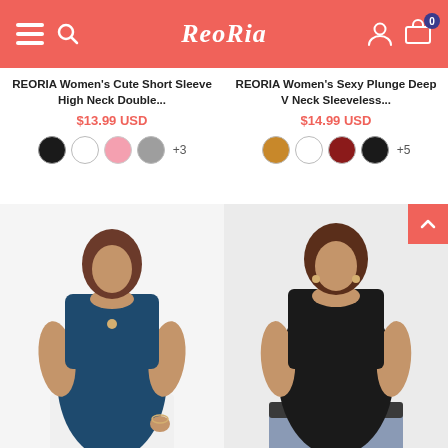ReoRia
REORIA Women's Cute Short Sleeve High Neck Double...
$13.99 USD
REORIA Women's Sexy Plunge Deep V Neck Sleeveless...
$14.99 USD
[Figure (photo): Woman wearing a navy blue sleeveless tank top with white pants]
[Figure (photo): Woman wearing a black sleeveless high neck tank top with jeans and a belt]